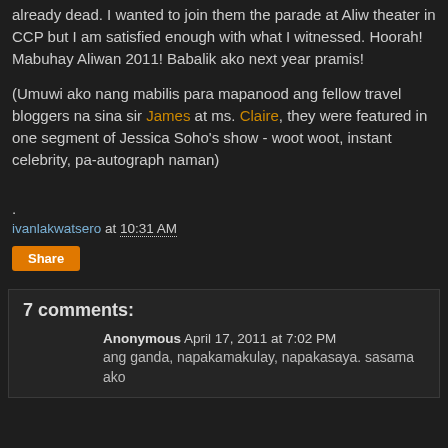already dead. I wanted to join them the parade at Aliw theater in CCP but I am satisfied enough with what I witnessed. Hoorah! Mabuhay Aliwan 2011! Babalik ako next year pramis!
(Umuwi ako nang mabilis para mapanood ang fellow travel bloggers na sina sir James at ms. Claire, they were featured in one segment of Jessica Soho's show - woot woot, instant celebrity, pa-autograph naman)
.
ivanlakwatsero at 10:31 AM
Share
7 comments:
Anonymous  April 17, 2011 at 7:02 PM
ang ganda, napakamakulay, napakasaya. sasama ako